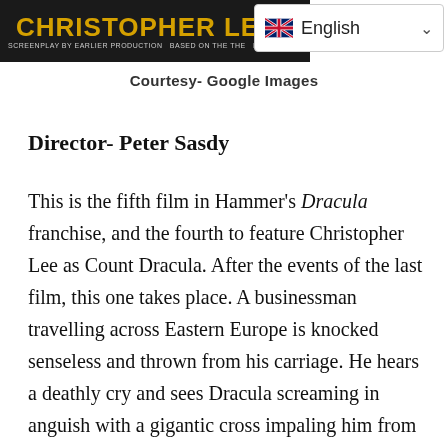[Figure (screenshot): Movie banner showing 'Christopher Lee' text in gold on dark background]
[Figure (screenshot): Language selector widget showing UK flag and 'English' with dropdown chevron]
Courtesy- Google Images
Director- Peter Sasdy
This is the fifth film in Hammer's Dracula franchise, and the fourth to feature Christopher Lee as Count Dracula. After the events of the last film, this one takes place. A businessman travelling across Eastern Europe is knocked senseless and thrown from his carriage. He hears a deathly cry and sees Dracula screaming in anguish with a gigantic cross impaling him from behind, and he turns from blood to reddish dust after regaining consciousness and roaming in the wilderness.